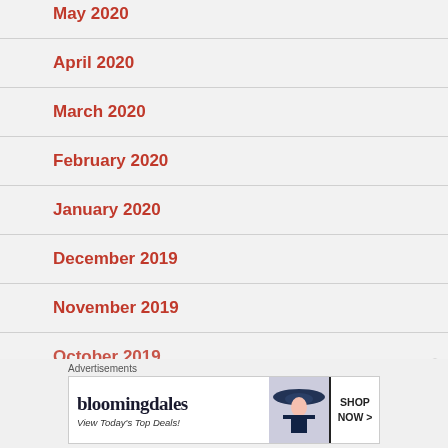May 2020
April 2020
March 2020
February 2020
January 2020
December 2019
November 2019
October 2019
[Figure (screenshot): Bloomingdales advertisement banner with text 'View Today's Top Deals!' and 'SHOP NOW >' button, with image of woman in hat]